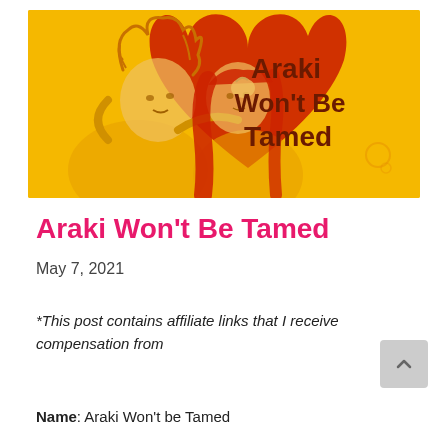[Figure (illustration): Manga-style banner image with yellow/orange background. Two characters in a romantic pose about to kiss, one with messy brown hair and one with long red hair. A large red heart shape behind them. Bold dark red text on the right reads 'Araki Won't Be Tamed'.]
Araki Won't Be Tamed
May 7, 2021
*This post contains affiliate links that I receive compensation from
Name: Araki Won't be Tamed